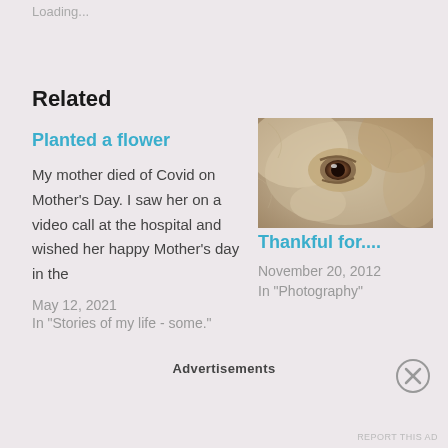Loading...
Related
Planted a flower
My mother died of Covid on Mother's Day. I saw her on a video call at the hospital and wished her happy Mother's day in the
May 12, 2021
In "Stories of my life - some."
[Figure (photo): Close-up photo of a dog's face, showing eye and white/cream fur]
Thankful for....
November 20, 2012
In "Photography"
Advertisements